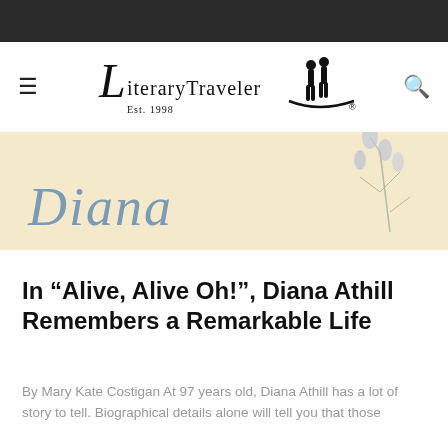LiteraryTraveler Est. 1998
[Figure (illustration): Hero image showing the word 'Diana' in blue-gray serif italic text on a cream/beige background with botanical floral illustrations in the upper right corner]
In “Alive, Alive Oh!”, Diana Athill Remembers a Remarkable Life
By Mary Kate Costigan At 97 years old, Diana Athill has a lot of story to tell. Biographical details alone will tell you that those